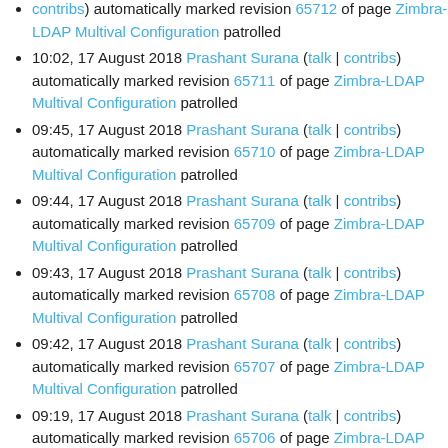(contribs) automatically marked revision 65712 of page Zimbra-LDAP Multival Configuration patrolled
10:02, 17 August 2018 Prashant Surana (talk | contribs) automatically marked revision 65711 of page Zimbra-LDAP Multival Configuration patrolled
09:45, 17 August 2018 Prashant Surana (talk | contribs) automatically marked revision 65710 of page Zimbra-LDAP Multival Configuration patrolled
09:44, 17 August 2018 Prashant Surana (talk | contribs) automatically marked revision 65709 of page Zimbra-LDAP Multival Configuration patrolled
09:43, 17 August 2018 Prashant Surana (talk | contribs) automatically marked revision 65708 of page Zimbra-LDAP Multival Configuration patrolled
09:42, 17 August 2018 Prashant Surana (talk | contribs) automatically marked revision 65707 of page Zimbra-LDAP Multival Configuration patrolled
09:19, 17 August 2018 Prashant Surana (talk | contribs) automatically marked revision 65706 of page Zimbra-LDAP Multival Configuration patrolled